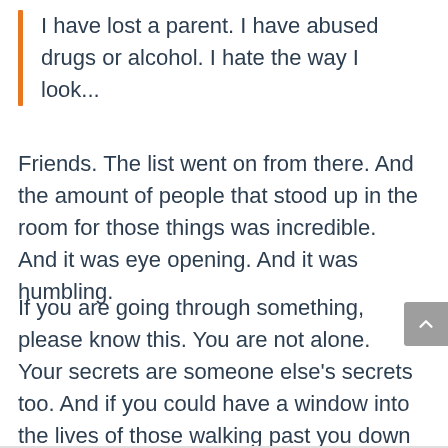I have lost a parent. I have abused drugs or alcohol. I hate the way I look...
Friends. The list went on from there. And the amount of people that stood up in the room for those things was incredible. And it was eye opening. And it was humbling.
If you are going through something, please know this. You are not alone. Your secrets are someone else's secrets too. And if you could have a window into the lives of those walking past you down the grocery aisle, you'd see that you're really not that different.